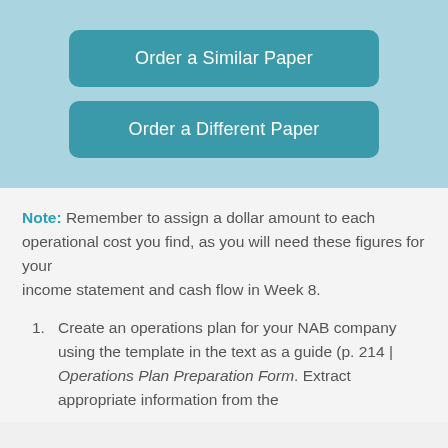[Figure (other): Light blue banner with two teal rounded buttons: 'Order a Similar Paper' and 'Order a Different Paper']
Note: Remember to assign a dollar amount to each operational cost you find, as you will need these figures for your income statement and cash flow in Week 8.
1. Create an operations plan for your NAB company using the template in the text as a guide (p. 214 | Operations Plan Preparation Form. Extract appropriate information from the